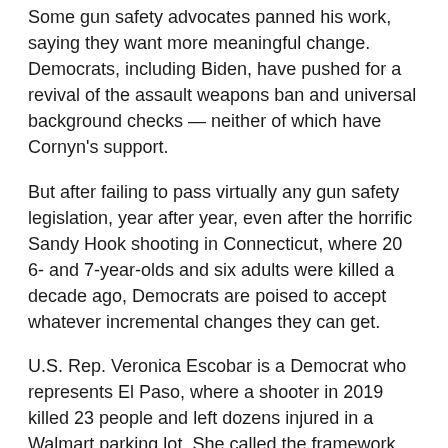Some gun safety advocates panned his work, saying they want more meaningful change. Democrats, including Biden, have pushed for a revival of the assault weapons ban and universal background checks — neither of which have Cornyn's support.
But after failing to pass virtually any gun safety legislation, year after year, even after the horrific Sandy Hook shooting in Connecticut, where 20 6- and 7-year-olds and six adults were killed a decade ago, Democrats are poised to accept whatever incremental changes they can get.
U.S. Rep. Veronica Escobar is a Democrat who represents El Paso, where a shooter in 2019 killed 23 people and left dozens injured in a Walmart parking lot. She called the framework “extremely disappointing.”
“Red state senators know the red flag law accomplishes nothing in states like ours,” she said. “We have a state legislature and governor uninterested in actually passing a red flag law. So incentives that keep Texans safe will go nowhere.
“However, I will support it for those states and governors who are interested in that,” she added.